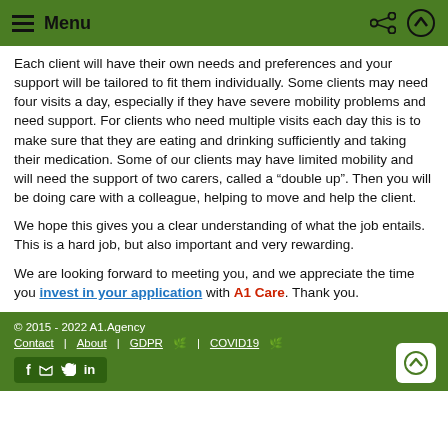Menu
Each client will have their own needs and preferences and your support will be tailored to fit them individually. Some clients may need four visits a day, especially if they have severe mobility problems and need support. For clients who need multiple visits each day this is to make sure that they are eating and drinking sufficiently and taking their medication. Some of our clients may have limited mobility and will need the support of two carers, called a “double up”. Then you will be doing care with a colleague, helping to move and help the client.
We hope this gives you a clear understanding of what the job entails. This is a hard job, but also important and very rewarding.
We are looking forward to meeting you, and we appreciate the time you invest in your application with A1 Care. Thank you.
© 2015 - 2022 A1.Agency | Contact | About | GDPR | COVID19